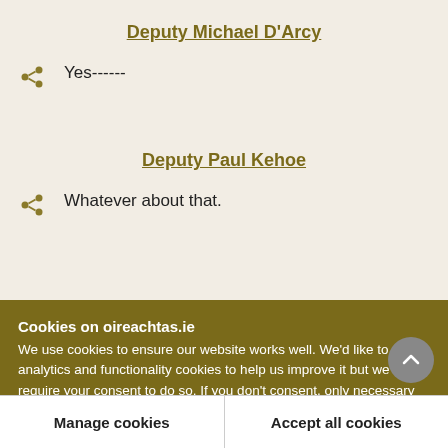Deputy Michael D'Arcy
Yes------
Deputy Paul Kehoe
Whatever about that.
Cookies on oireachtas.ie
We use cookies to ensure our website works well. We'd like to use analytics and functionality cookies to help us improve it but we require your consent to do so. If you don't consent, only necessary cookies will be used. Read more about our cookies
Manage cookies
Accept all cookies